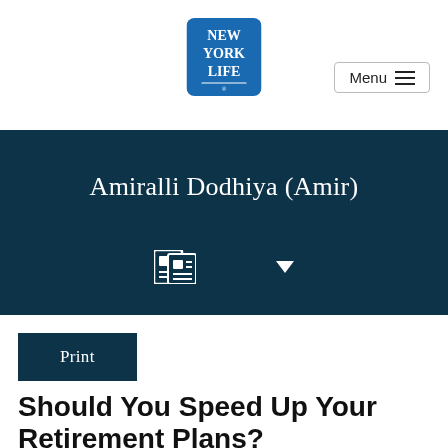[Figure (logo): New York Life logo — blue rounded square with white text 'NEW YORK LIFE']
Menu
Amiralli Dodhiya (Amir)
[Figure (infographic): Newspaper/reading icon and dropdown arrow in dark blue banner]
Print
Should You Speed Up Your Retirement Plans?